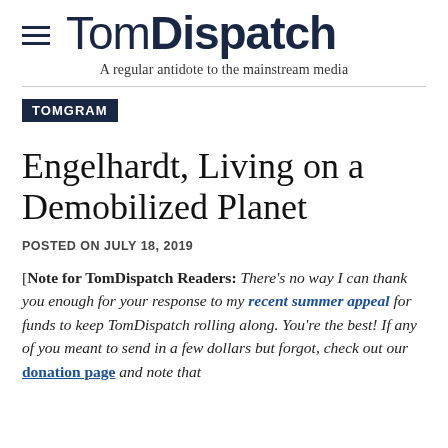TomDispatch — A regular antidote to the mainstream media
TOMGRAM
Engelhardt, Living on a Demobilized Planet
POSTED ON JULY 18, 2019
[Note for TomDispatch Readers: There's no way I can thank you enough for your response to my recent summer appeal for funds to keep TomDispatch rolling along. You're the best! If any of you meant to send in a few dollars but forgot, check out our donation page and note that